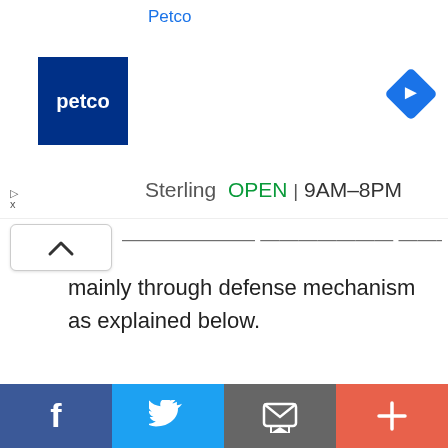[Figure (screenshot): Petco advertisement banner with logo, 'Sterling OPEN 9AM-8PM', navigation arrow icon, and close button]
...mainly through defense mechanism as explained below.
The Defense Mechanism Worked:
This website uses cookies to ensure you get the best experience on our website.
[Figure (screenshot): Got it! cookie consent button (yellow)]
[Figure (screenshot): Social share bar with Facebook, Twitter, Email, and Plus buttons at bottom]